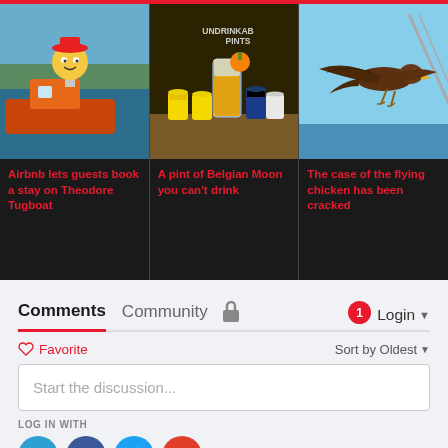[Figure (photo): Three news article cards with images and red headlines on dark background. Left: tugboat on water with cartoon character; Center: Belgian Moon beer cans and pint glass with 'Undrinkable Pints' text; Right: bird of prey flying near a bridge.]
Airbnb lets guests book a stay on Theodore Tugboat
A pint of Belgian Moon you can't drink
The case of the flying chicken has been cracked
Comments	Community	🔒	1	Login
♡ Favorite
Sort by Oldest
Start the discussion...
LOG IN WITH